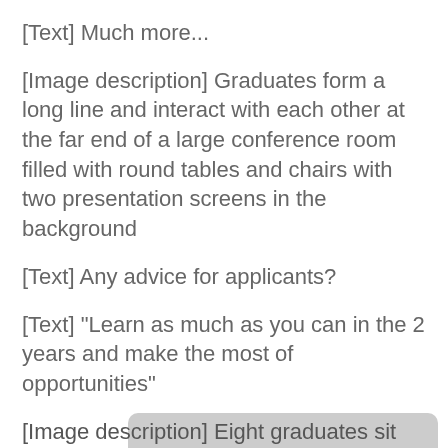[Text] Much more...
[Image description] Graduates form a long line and interact with each other at the far end of a large conference room filled with round tables and chairs with two presentation screens in the background
[Text] Any advice for applicants?
[Text] "Learn as much as you can in the 2 years and make the most of opportunities"
[Image description] Eight graduates sit and stand around a table and focus on a fellow graduate giving instructions in a meeting room